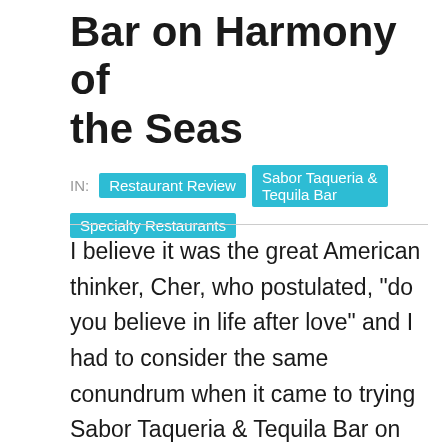Bar on Harmony of the Seas
IN: Restaurant Review | Sabor Taqueria & Tequila Bar | Specialty Restaurants
I believe it was the great American thinker, Cher, who postulated, "do you believe in life after love" and I had to consider the same conundrum when it came to trying Sabor Taqueria & Tequila Bar on Harmony of the Seas following a recent menu change.